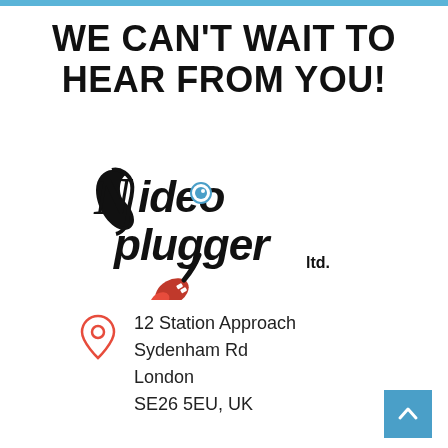WE CAN'T WAIT TO HEAR FROM YOU!
[Figure (logo): Videoplugg ltd. logo — stylized text 'Video plugger ltd.' with a camera/plug icon and a blue eye on the 'o' of Video]
12 Station Approach
Sydenham Rd
London
SE26 5EU, UK